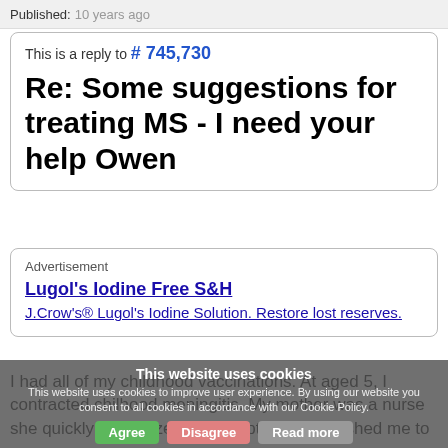Published: 10 years ago
This is a reply to # 745,730
Re: Some suggestions for treating MS - I need your help Owen
Advertisement
Lugol's Iodine Free S&H
J.Crow's® Lugol's Iodine Solution. Restore lost reserves.
This website uses cookies
This website uses cookies to improve user experience. By using our website you consent to all cookies in accordance with our Cookie Policy.
I had all of my childhood vaccinations. At aged 5, I contracted chilhood meningitis. My mother was a nurse she quickly recognized the symptoms and rushed me to